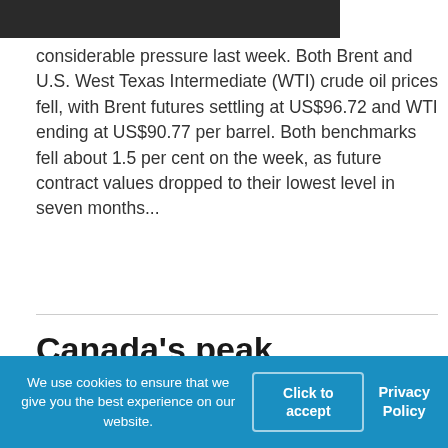[Figure (photo): Dark/black photograph strip at top of page, partially visible]
considerable pressure last week. Both Brent and U.S. West Texas Intermediate (WTI) crude oil prices fell, with Brent futures settling at US$96.72 and WTI ending at US$90.77 per barrel. Both benchmarks fell about 1.5 per cent on the week, as future contract values dropped to their lowest level in seven months...
Canada’s peak government is leading to reckless spending
We use cookies to ensure that we give you the best experience on our website.
Click to accept
Privacy Policy